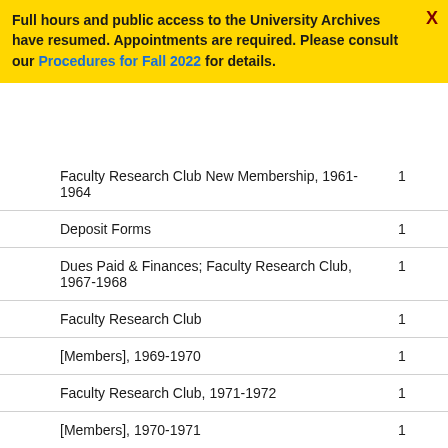Full hours and public access to the University Archives have resumed. Appointments are required. Please consult our Procedures for Fall 2022 for details.
| Item | Count |
| --- | --- |
| Faculty Research Club New Membership, 1961-1964 | 1 |
| Deposit Forms | 1 |
| Dues Paid & Finances; Faculty Research Club, 1967-1968 | 1 |
| Faculty Research Club | 1 |
| [Members], 1969-1970 | 1 |
| Faculty Research Club, 1971-1972 | 1 |
| [Members], 1970-1971 | 1 |
| Faculty Research Club, Archives | 1 |
| MAP, Morris Arboretum | 1 |